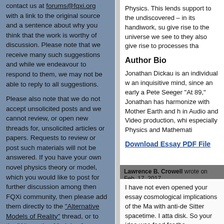contact us at forums@fqxi.org with a link to the original source and a sentence about why you think that the work is worthy of discussion. Please note that we receive many such suggestions and while we endeavour to respond to them, we may not be able to reply to all suggestions.
Please also note that we do not accept unsolicited posts and we cannot review, or open new threads for, unsolicited articles or papers. Requests to review or post such materials will not be answered. If you have your own novel physics theory or model, which you would like to post for further discussion among then FQXi community, then please add them directly to the "Alternative Models of Reality" thread, or to the "Alternative Models of Cosmology" thread. Thank you.
Contests Home
Physics. This lends support to the undiscovered – in its handiwork, su give rise to the universe we see to they also give rise to processes tha
Author Bio
Jonathan Dickau is an individual w an inquisitive mind, since an early a Pete Seeger "At 89," Jonathan has harmonize with Mother Earth and h in Audio and Video production, whi especially Physics and Mathemati
Download Essay PDF File
Lawrence B. Crowell wrote on Feb. 17, 2017
I have not even opened your essay cosmological implications of the Ma with anti-de Sitter spacetime. I atta disk. So your idea was food for tho